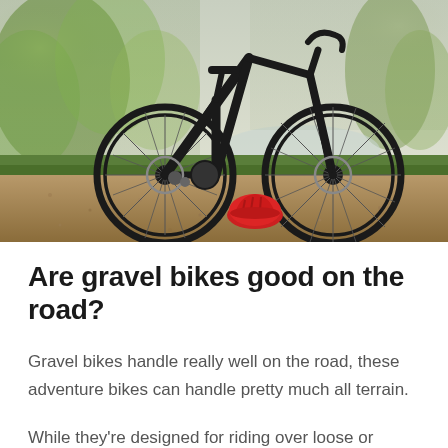[Figure (photo): A black gravel/road bike standing on a gravel path in a park setting with autumn leaves. A red cycling helmet sits on the ground beneath the bike. Blurred green trees in the background.]
Are gravel bikes good on the road?
Gravel bikes handle really well on the road, these adventure bikes can handle pretty much all terrain.
While they're designed for riding over loose or rougher